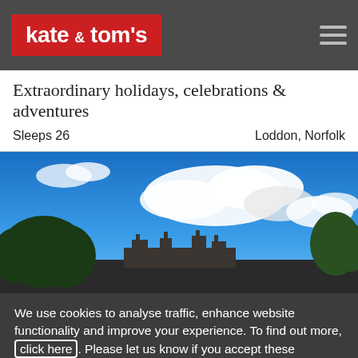kate & tom's
Extraordinary holidays, celebrations & adventures
Sleeps 26   Loddon, Norfolk
[Figure (photo): A large country house/manor photographed from below against a vivid blue sky with white clouds, with trees visible on both sides.]
We use cookies to analyse traffic, enhance website functionality and improve your experience. To find out more, click here. Please let us know if you accept these cookies.
COOKIE SETTINGS   ACCEPT